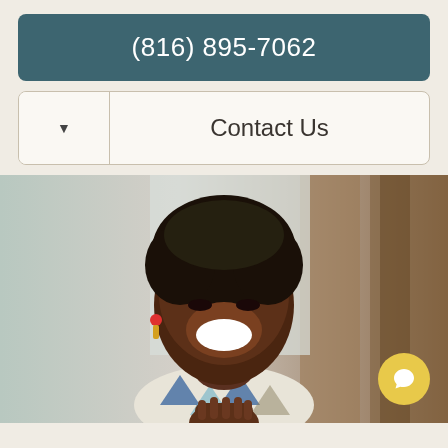(816) 895-7062
Contact Us
[Figure (photo): A smiling Black woman with natural hair, wearing a patterned blue-and-white scarf and light-colored top, looking off to the side with hands pressed together, in an indoor setting with blurred background.]